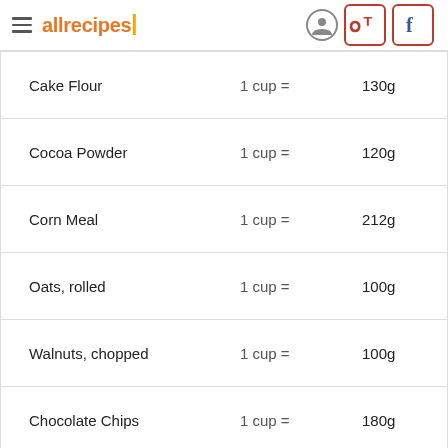allrecipes
| Ingredient | Measurement | Grams |
| --- | --- | --- |
| Cake Flour | 1 cup = | 130g |
| Cocoa Powder | 1 cup = | 120g |
| Corn Meal | 1 cup = | 212g |
| Oats, rolled | 1 cup = | 100g |
| Walnuts, chopped | 1 cup = | 100g |
| Chocolate Chips | 1 cup = | 180g |